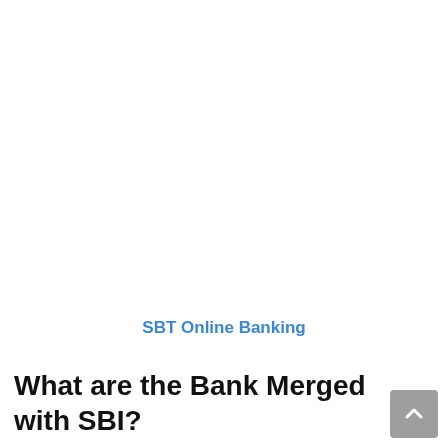SBT Online Banking
What are the Bank Merged with SBI?